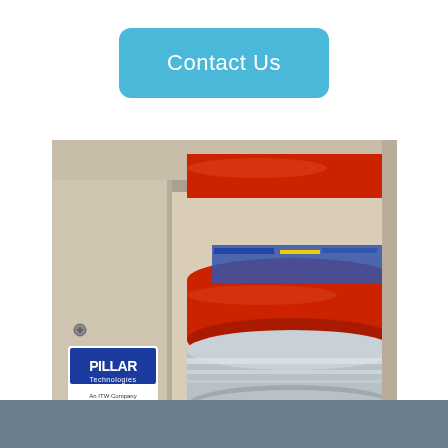[Figure (other): A blue rounded rectangle button labeled 'Contact Us' in white text on a light blue background]
[Figure (photo): Industrial machine from Pillar Technologies (An ITW Company) showing red rubber rollers and silver metallic cylinders mounted in a beige metal frame with casters. The Pillar Technologies logo with 'An ITW Company' tagline is visible on the left panel.]
[Figure (other): Solid gray-blue footer bar at the bottom of the page]